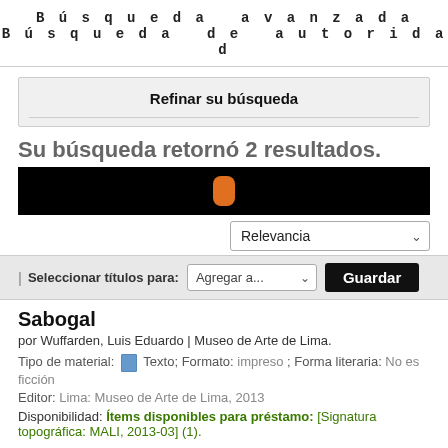Búsqueda avanzada
Búsqueda de autoridad
Refinar su búsqueda
Su búsqueda retornó 2 resultados.
[Figure (screenshot): Black bar with orange pill/capsule shape in center, representing a UI element or progress indicator]
Relevancia (dropdown)
| Seleccionar títulos para: Agregar a... (dropdown) Guardar (button)
Sabogal
por Wuffarden, Luis Eduardo | Museo de Arte de Lima.
Tipo de material: Texto; Formato: impreso ; Forma literaria: No es ficción
Editor: Lima: Museo de Arte de Lima, 2013
Disponibilidad: Ítems disponibles para préstamo: [Signatura topográfica: MALI, 2013-03] (1).